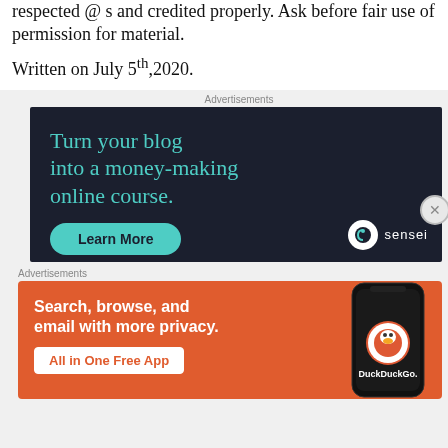respected @ s and credited properly. Ask before fair use of permission for material.
Written on July 5th,2020.
Advertisements
[Figure (illustration): Sensei advertisement on dark navy background. Text: 'Turn your blog into a money-making online course.' with a teal 'Learn More' button and the Sensei logo in the bottom right.]
Advertisements
[Figure (illustration): DuckDuckGo advertisement on orange background. Text: 'Search, browse, and email with more privacy.' with 'All in One Free App' button and a phone mockup with DuckDuckGo logo.]